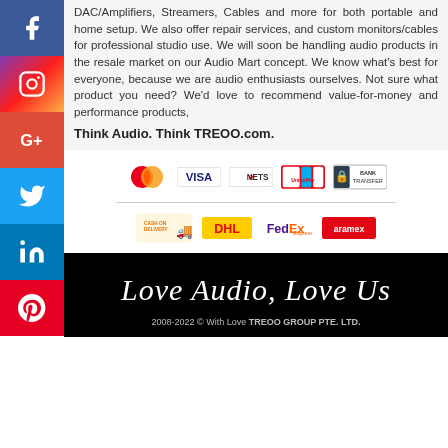DAC/Amplifiers, Streamers, Cables and more for both portable and home setup. We also offer repair services, and custom monitors/cables for professional studio use. We will soon be handling audio products in the resale market on our Audio Mart concept. We know what's best for everyone, because we are audio enthusiasts ourselves. Not sure what product you need? We'd love to recommend value-for-money and performance products,
Think Audio. Think TREOO.com.
[Figure (logo): Payment method logos: MasterCard, VISA, eNETS, UnionPay, Bank Transfer]
[Figure (logo): Shipping logos: Cash on Delivery, DHL, FedEx Express, Aramex]
Love Audio, Love Us
2008-2022 © With Love TREOO GROUP PTE. LTD.